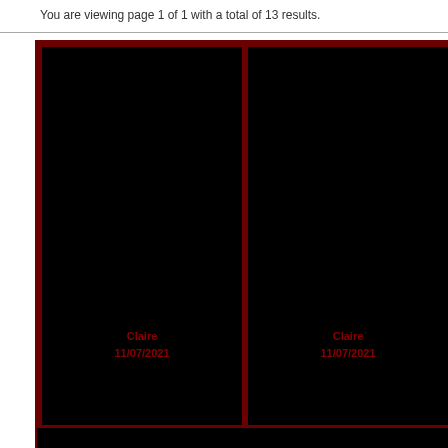You are viewing page 1 of 1 with a total of 13 results.
[Figure (photo): Black image panel (left) with red watermark text 'Claire 11/07/2021' near bottom center]
[Figure (photo): Black image panel (right) with red watermark text 'Claire 11/07/2021' near bottom center]